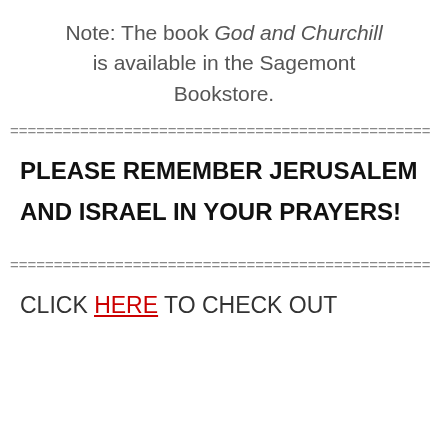Note:  The book God and Churchill is available in the Sagemont Bookstore.
================================================
PLEASE REMEMBER JERUSALEM AND ISRAEL IN YOUR PRAYERS!
================================================
CLICK HERE TO CHECK OUT